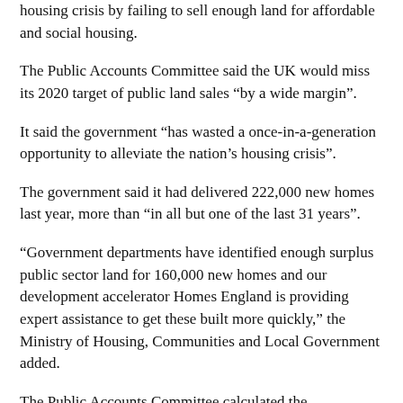housing crisis by failing to sell enough land for affordable and social housing.
The Public Accounts Committee said the UK would miss its 2020 target of public land sales “by a wide margin”.
It said the government “has wasted a once-in-a-generation opportunity to alleviate the nation’s housing crisis”.
The government said it had delivered 222,000 new homes last year, more than “in all but one of the last 31 years”.
“Government departments have identified enough surplus public sector land for 160,000 new homes and our development accelerator Homes England is providing expert assistance to get these built more quickly,” the Ministry of Housing, Communities and Local Government added.
The Public Accounts Committee calculated the government’s land sale failure would result in 91,000 fewer homes in 2020 than anticipated, equivalent to 57% of its overall target.